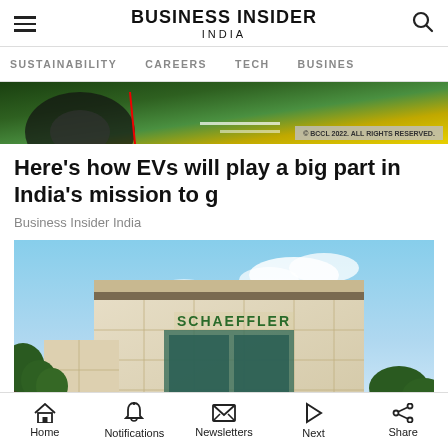BUSINESS INSIDER INDIA
SUSTAINABILITY  CAREERS  TECH  BUSINESS
[Figure (photo): Top strip image showing colorful background with BCCL 2022 ALL RIGHTS RESERVED watermark]
Here's how EVs will play a big part in India's mission to g
Business Insider India
[Figure (photo): Photograph of Schaeffler building exterior with green SCHAEFFLER signage on a beige multi-story building against a partly cloudy sky with trees visible]
Home  Notifications  Newsletters  Next  Share